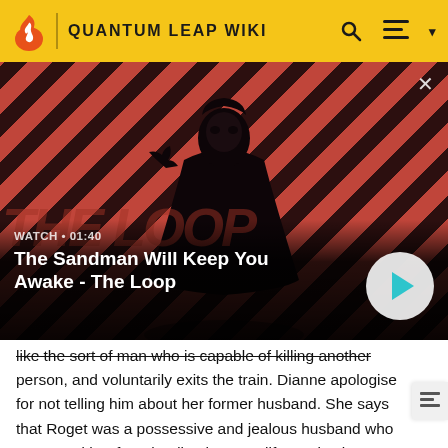QUANTUM LEAP WIKI
[Figure (screenshot): Video thumbnail showing a man in black with a crow on his shoulder against a red diagonal striped background, with play button overlay. Title reads 'The Sandman Will Keep You Awake - The Loop', WATCH • 01:40]
like the sort of man who is capable of killing another person, and voluntarily exits the train. Dianne apologises for not telling him about her former husband. She says that Roget was a possessive and jealous husband who prevented her from leading her own life. He is also a dangerous arms dealer who began his profession by